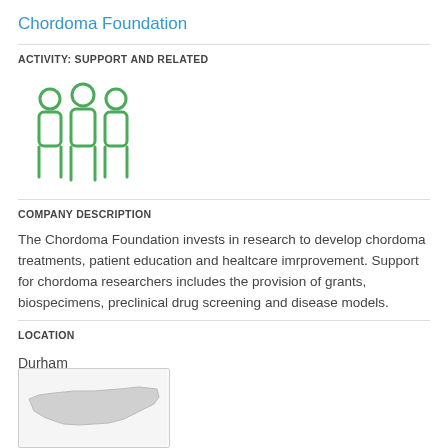Chordoma Foundation
ACTIVITY: SUPPORT AND RELATED
[Figure (illustration): Green icon of three people (support/community icon)]
COMPANY DESCRIPTION
The Chordoma Foundation invests in research to develop chordoma treatments, patient education and healtcare imrprovement. Support for chordoma researchers includes the provision of grants, biospecimens, preclinical drug screening and disease models.
LOCATION
Durham
[Figure (map): Small map thumbnail showing North Carolina state outline]